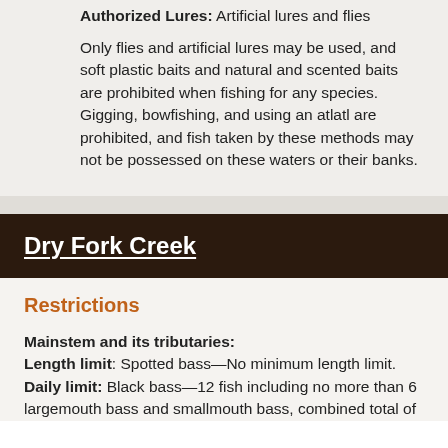Authorized Lures: Artificial lures and flies
Only flies and artificial lures may be used, and soft plastic baits and natural and scented baits are prohibited when fishing for any species. Gigging, bowfishing, and using an atlatl are prohibited, and fish taken by these methods may not be possessed on these waters or their banks.
Dry Fork Creek
Restrictions
Mainstem and its tributaries:
Length limit: Spotted bass—No minimum length limit.
Daily limit: Black bass—12 fish including no more than 6 largemouth bass and smallmouth bass, combined total of